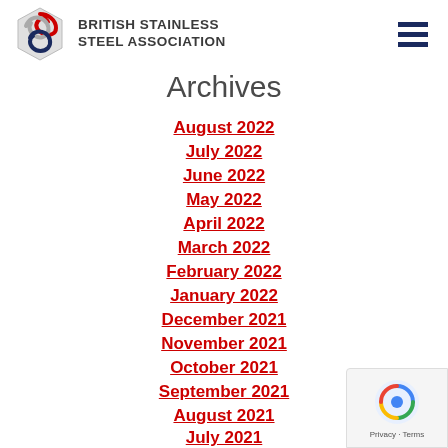British Stainless Steel Association
Archives
August 2022
July 2022
June 2022
May 2022
April 2022
March 2022
February 2022
January 2022
December 2021
November 2021
October 2021
September 2021
August 2021
July 2021